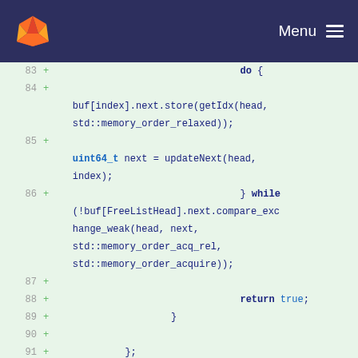GitLab navigation bar with logo and Menu
[Figure (screenshot): GitLab logo (fox/tanuki icon in orange) on dark navy background]
Menu ≡
Code diff view lines 83-94:
83 +                                do {
84 +
   buf[index].next.store(getIdx(head,
   std::memory_order_relaxed));
85 +
   uint64_t next = updateNext(head,
   index);
86 +                                } while
   (!buf[FreeListHead].next.compare_exc
   hange_weak(head, next,
   std::memory_order_acq_rel,
   std::memory_order_acquire));
87 +
88 +                                return true;
89 +                    }
90 +
91 +            };
92 +
93 +
94 + }